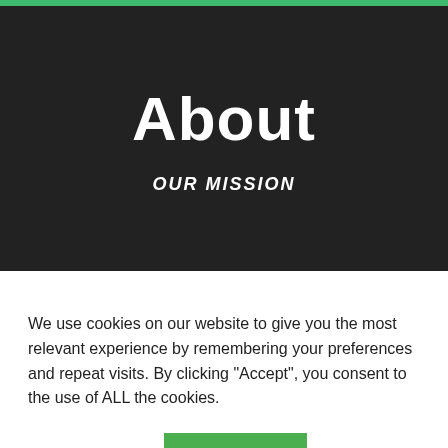About
OUR MISSION
We use cookies on our website to give you the most relevant experience by remembering your preferences and repeat visits. By clicking “Accept”, you consent to the use of ALL the cookies.
Cookie settings
ACCEPT